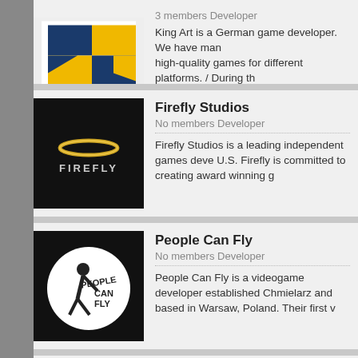[Figure (logo): King Art logo - blue and yellow quadrant design]
3 members Developer
King Art is a German game developer. We have man high-quality games for different platforms. / During th
[Figure (logo): Firefly Studios logo - black background with gold halo and FIREFLY text]
Firefly Studios
No members Developer
Firefly Studios is a leading independent games deve U.S. Firefly is committed to creating award winning g
[Figure (logo): People Can Fly logo - black background with white circle containing silhouette and PEOPLE CAN FLY text]
People Can Fly
No members Developer
People Can Fly is a videogame developer established Chmielarz and based in Warsaw, Poland. Their first v
[Figure (logo): Mundi Interactive logo - white background with green owl/eye icon and MUNDI INTERACTIVE text]
Mundi Interactive
1 member Developer
Mundi Interactive is a multi-platform game developm an industry veteran with over 15 years of professiona